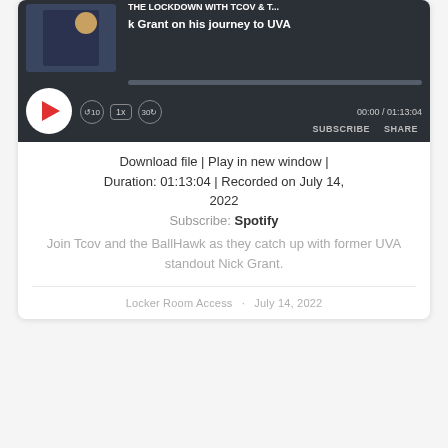[Figure (screenshot): Podcast audio player widget with dark background showing episode title 'k Grant on his journey to UVA', play button, progress bar, speed control (1x), skip controls (10s back, 30s forward), time display 00:00 / 01:13:04, SUBSCRIBE and SHARE buttons]
Download file | Play in new window | Duration: 01:13:04 | Recorded on July 14, 2022
Subscribe: Spotify
Join Tcov and the BallHawk as they catch up with former UVA standout Nick Grant.
Locker Room Access · July 14, 2022